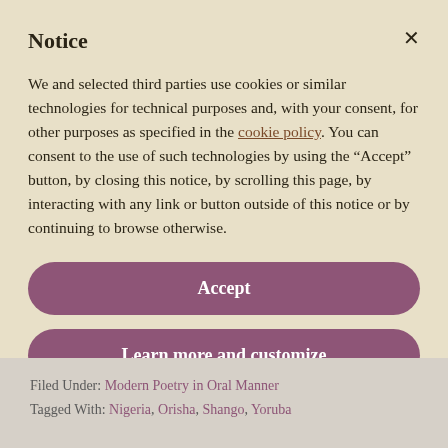Notice
We and selected third parties use cookies or similar technologies for technical purposes and, with your consent, for other purposes as specified in the cookie policy. You can consent to the use of such technologies by using the “Accept” button, by closing this notice, by scrolling this page, by interacting with any link or button outside of this notice or by continuing to browse otherwise.
Accept
Learn more and customize
Filed Under: Modern Poetry in Oral Manner
Tagged With: Nigeria, Orisha, Shango, Yoruba